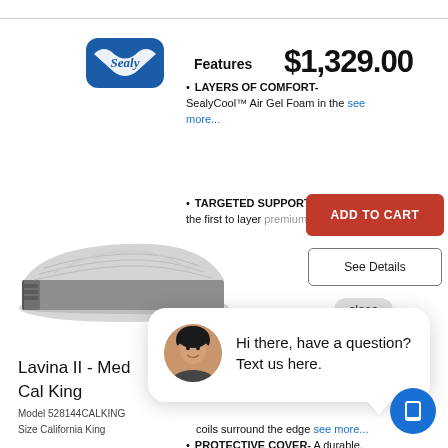[Figure (logo): Sealy brand logo — blue shield/badge shape with white 'Sealy' script text]
$1,329.00
Features
[Figure (photo): Sealy Lavina II mattress product photo — grey quilted pillow-top mattress, side angle view]
LAYERS OF COMFORT- SealyCool™ Air Gel Foam in the see more...
TARGETED SUPPORT- Sealy® was the first to layer premium see more...
ADD TO CART
See Details
close
Lavina II - Med Cal King
Model 528144CALKING
Size California King
[Figure (photo): Chat widget with avatar photo of a woman smiling, with text: Hi there, have a question? Text us here.]
coils surround the edge see more...
PROTECTIVE COVER- A durable, soft
[Figure (illustration): Blue circle button with mobile/phone icon for chat widget]